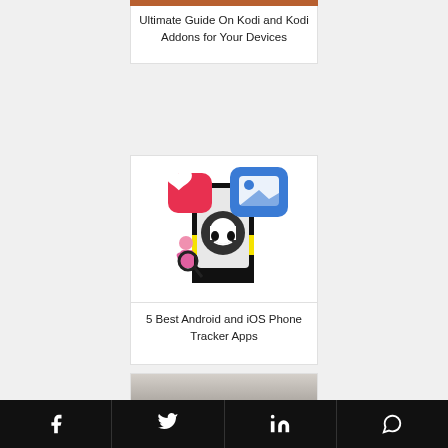[Figure (photo): Partial top image of Kodi related content with brown/orange color]
Ultimate Guide On Kodi and Kodi Addons for Your Devices
[Figure (illustration): Phone tracker app illustration showing a smartphone with Snapchat ghost logo, red heart notification bubble, blue photo notification bubble, and a person with a magnifying glass]
5 Best Android and iOS Phone Tracker Apps
[Figure (photo): Partial bottom image, appears to be a dark device or card on a white background]
Facebook  Twitter  LinkedIn  WhatsApp